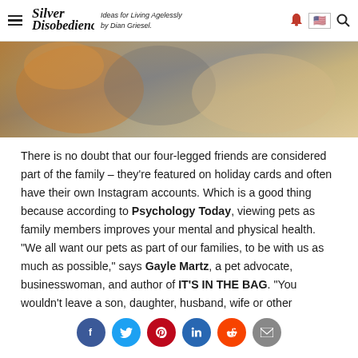Silver Disobedience — Ideas for Living Agelessly by Dian Griesel.
[Figure (photo): Close-up photo of cats or pets snuggled together, showing orange and white fur.]
There is no doubt that our four-legged friends are considered part of the family – they're featured on holiday cards and often have their own Instagram accounts. Which is a good thing because according to Psychology Today, viewing pets as family members improves your mental and physical health. "We all want our pets as part of our families, to be with us as much as possible," says Gayle Martz, a pet advocate, businesswoman, and author of IT'S IN THE BAG. "You wouldn't leave a son, daughter, husband, wife or other
[Figure (infographic): Social sharing buttons: Facebook, Twitter, Pinterest, LinkedIn, Reddit, Email]